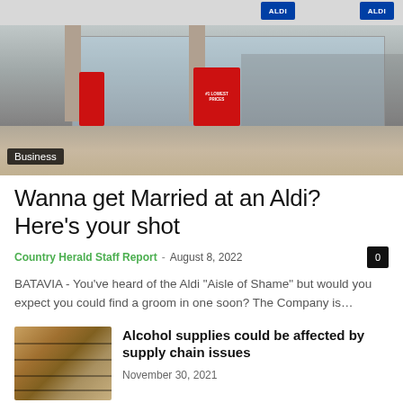[Figure (photo): Exterior photo of an Aldi grocery store with red promotional signs and shopping cart corral visible]
Business
Wanna get Married at an Aldi?  Here’s your shot
Country Herald Staff Report · August 8, 2022
BATAVIA - You’ve heard of the Aldi “Aisle of Shame” but would you expect you could find a groom in one soon? The Company is…
[Figure (photo): Photo of liquor store shelves stocked with various alcohol bottles]
Alcohol supplies could be affected by supply chain issues
November 30, 2021